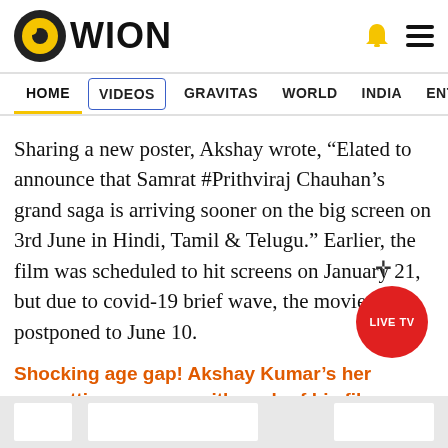[Figure (logo): WION news logo with circular icon on the left and bell/hamburger icons on the right]
HOME  VIDEOS  GRAVITAS  WORLD  INDIA  ENTERTAINMENT  SPORTS
Sharing a new poster, Akshay wrote, “Elated to announce that Samrat #Prithviraj Chauhan’s grand saga is arriving sooner on the big screen on 3rd June in Hindi, Tamil & Telugu.” Earlier, the film was scheduled to hit screens on January 21, but due to covid-19 brief wave, the movie was postponed to June 10.
Shocking age gap! Akshay Kumar’s heroines are getting younger with each of his films